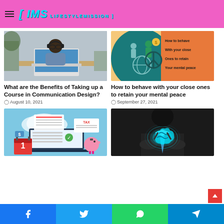IMS LIFESTYLEMISSION
[Figure (photo): Man with headphones working on laptop]
What are the Benefits of Taking up a Course in Communication Design?
August 10, 2021
[Figure (infographic): How to behave with your close ones to retain your mental peace - illustration with people around a peace sign]
How to behave with your close ones to retain your mental peace
September 27, 2021
[Figure (illustration): Tax and payment illustration with laptop, calendar, piggy bank]
[Figure (photo): Man in suit holding glowing brain illustration]
Facebook | Twitter | WhatsApp | Telegram